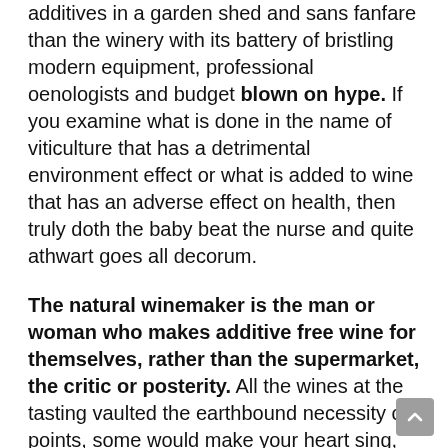additives in a garden shed and sans fanfare than the winery with its battery of bristling modern equipment, professional oenologists and budget blown on hype. If you examine what is done in the name of viticulture that has a detrimental environment effect or what is added to wine that has an adverse effect on health, then truly doth the baby beat the nurse and quite athwart goes all decorum.
The natural winemaker is the man or woman who makes additive free wine for themselves, rather than the supermarket, the critic or posterity. All the wines at the tasting vaulted the earthbound necessity of points, some would make your heart sing, others would make you furrow your brow, but straight or strange, they were unified by their originality and, for want of a better word, their reckness...